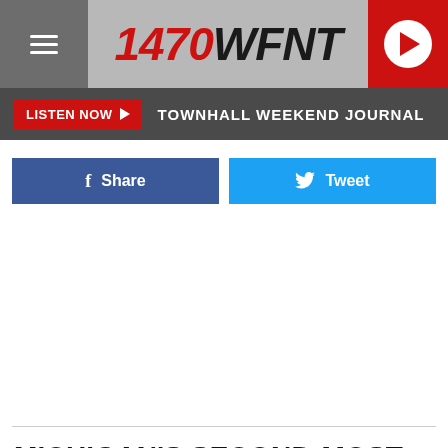1470 WFNT
LISTEN NOW  TOWNHALL WEEKEND JOURNAL
[Figure (screenshot): Facebook Share button and Twitter Tweet button]
MICHIGAN'S SECOND-MOST EXPENSIVE HOUSE HAS 118 ROOMS
Michigan's second-most expensive home on the market right